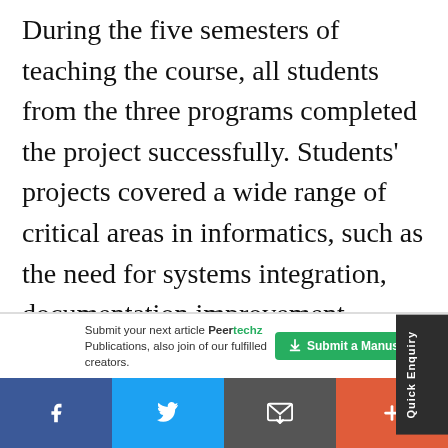During the five semesters of teaching the course, all students from the three programs completed the project successfully. Students' projects covered a wide range of critical areas in informatics, such as the need for systems integration, documentation improvement, screening tools for preventive care, better care coordination, transition and follow up, health databases for public schools, and
Submit your next article Peertechz Publications, also join of our fulfilled creators.
Submit a Manuscript